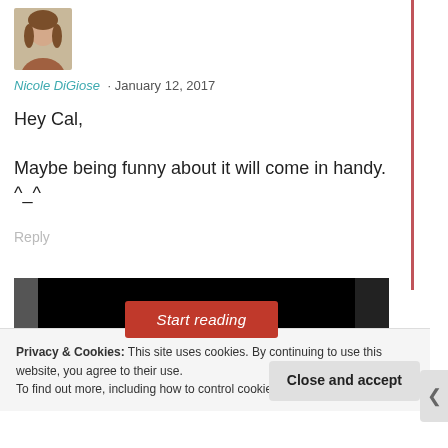[Figure (photo): Profile photo of Nicole DiGiose – a woman with brown hair]
Nicole DiGiose · January 12, 2017
Hey Cal,
Maybe being funny about it will come in handy. ^_^
Reply
[Figure (screenshot): Black banner with a red 'Start reading' button in the center]
Privacy & Cookies: This site uses cookies. By continuing to use this website, you agree to their use.
To find out more, including how to control cookies, see here: Cookie Policy
Close and accept